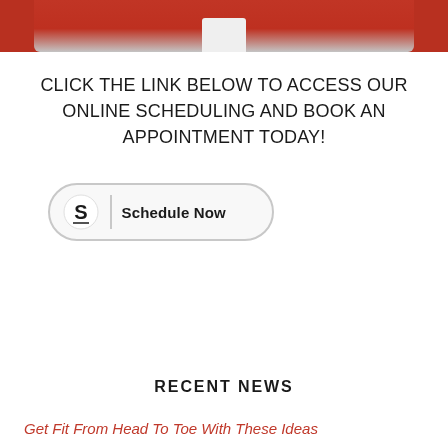[Figure (photo): Partial photo of a person wearing a red cable-knit sweater and white collared shirt, cropped to show torso/lower face area at top of page]
CLICK THE LINK BELOW TO ACCESS OUR ONLINE SCHEDULING AND BOOK AN APPOINTMENT TODAY!
[Figure (logo): Schedule Now button with stylized S logo (Schedulicity or similar scheduling service) — rounded rectangle button with S icon and divider line]
RECENT NEWS
Get Fit From Head To Toe With These Ideas